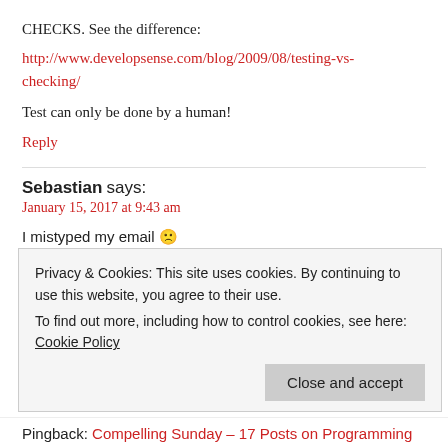CHECKS. See the difference:
http://www.developsense.com/blog/2009/08/testing-vs-checking/
Test can only be done by a human!
Reply
Sebastian says:
January 15, 2017 at 9:43 am
I mistyped my email 😕
Privacy & Cookies: This site uses cookies. By continuing to use this website, you agree to their use. To find out more, including how to control cookies, see here: Cookie Policy
Close and accept
Pingback: Compelling Sunday – 17 Posts on Programming